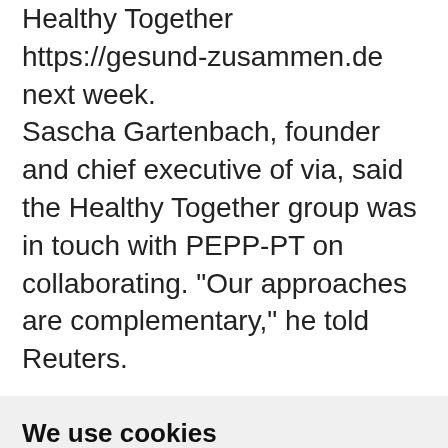Healthy Together https://gesund-zusammen.de next week.
Sascha Gartenbach, founder and chief executive of via, said the Healthy Together group was in touch with PEPP-PT on collaborating. "Our approaches are complementary," he told Reuters.
We use cookies
We use cookies and other tracking technologies to improve your browsing experience on our website, to show you personalized content and targeted ads, to analyze our website traffic, and to understand where our visitors are coming from.